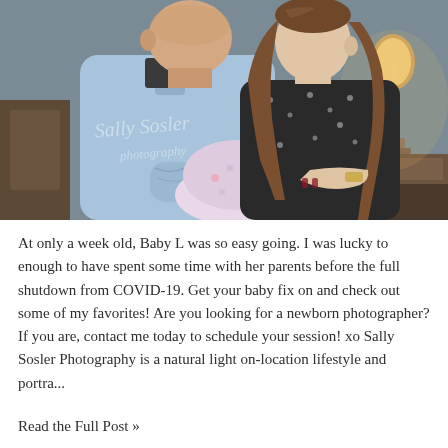[Figure (photo): A couple looking down at their newborn baby. The man on the left wears a light blue shirt and holds the swaddled infant. The woman on the right has long brown hair and wears a black floral dress. They are indoors with a lamp visible in the background. A watermark reading 'Sally Sosler Photography' is overlaid on the image.]
At only a week old, Baby L was so easy going. I was lucky to enough to have spent some time with her parents before the full shutdown from COVID-19. Get your baby fix on and check out some of my favorites! Are you looking for a newborn photographer? If you are, contact me today to schedule your session! xo Sally Sosler Photography is a natural light on-location lifestyle and portra...
Read the Full Post »